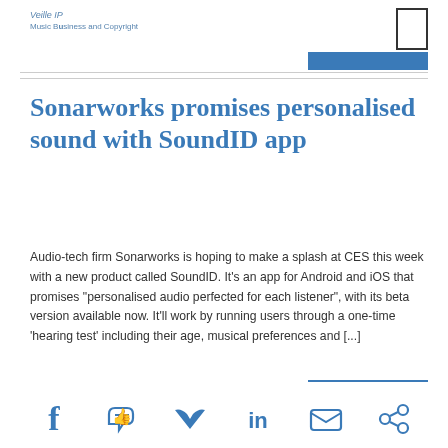Veille IP
Music Business and Copyright
Sonarworks promises personalised sound with SoundID app
Audio-tech firm Sonarworks is hoping to make a splash at CES this week with a new product called SoundID. It's an app for Android and iOS that promises "personalised audio perfected for each listener", with its beta version available now. It'll work by running users through a one-time 'hearing test' including their age, musical preferences and [...]